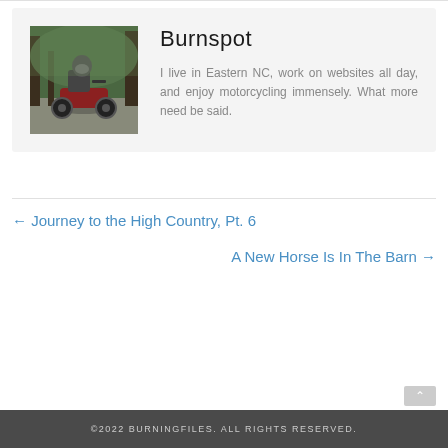[Figure (photo): Author photo: motorcyclist riding on a road through trees]
Burnspot
I live in Eastern NC, work on websites all day, and enjoy motorcycling immensely. What more need be said.
← Journey to the High Country, Pt. 6
A New Horse Is In The Barn →
©2022 BURNINGFILES. ALL RIGHTS RESERVED.